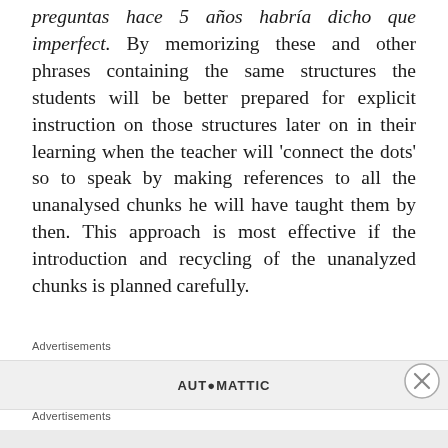preguntas hace 5 años habría dicho que imperfect. By memorizing these and other phrases containing the same structures the students will be better prepared for explicit instruction on those structures later on in their learning when the teacher will 'connect the dots' so to speak by making references to all the unanalysed chunks he will have taught them by then. This approach is most effective if the introduction and recycling of the unanalyzed chunks is planned carefully.
Advertisements
AUT●MATTIC
Advertisements